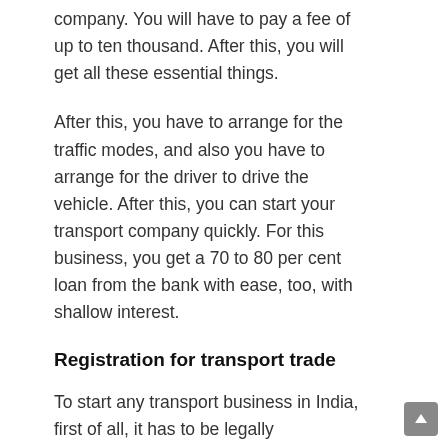company. You will have to pay a fee of up to ten thousand. After this, you will get all these essential things.
After this, you have to arrange for the traffic modes, and also you have to arrange for the driver to drive the vehicle. After this, you can start your transport company quickly. For this business, you get a 70 to 80 per cent loan from the bank with ease, too, with shallow interest.
Registration for transport trade
To start any transport business in India, first of all, it has to be legally registered. It has to be registered by the central government. In this, you need to take Shop Act, license, industry base, and GST number. Only after registration can we carry on our business.